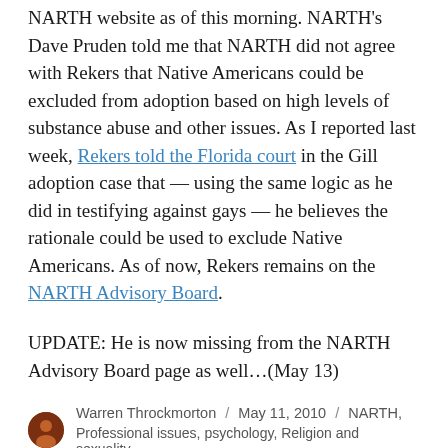NARTH website as of this morning. NARTH's Dave Pruden told me that NARTH did not agree with Rekers that Native Americans could be excluded from adoption based on high levels of substance abuse and other issues. As I reported last week, Rekers told the Florida court in the Gill adoption case that — using the same logic as he did in testifying against gays — he believes the rationale could be used to exclude Native Americans. As of now, Rekers remains on the NARTH Advisory Board.
UPDATE: He is now missing from the NARTH Advisory Board page as well…(May 13)
Warren Throckmorton / May 11, 2010 / NARTH, Professional issues, psychology, Religion and sexuality,